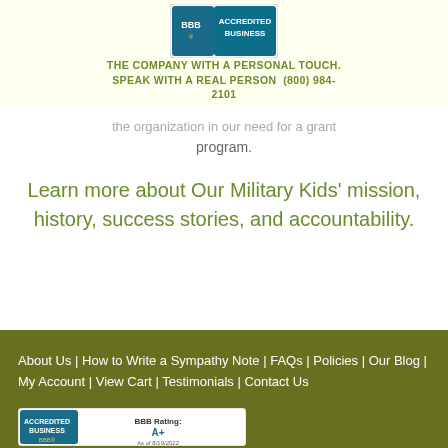[Figure (logo): BBB Accredited Business logo - blue and teal badge with BBB text]
THE COMPANY WITH A PERSONAL TOUCH. SPEAK WITH A REAL PERSON  (800) 984-2101
the organization in our need for a grant program.
Learn more about Our Military Kids' mission, history, success stories, and accountability.
About Us | How to Write a Sympathy Note | FAQs | Policies | Our Blog | My Account | View Cart | Testimonials | Contact Us
[Figure (logo): BBB Accredited Business badge with rating A+ as of 8/19/2022]